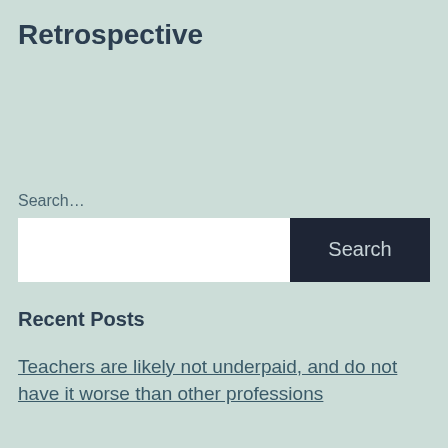Retrospective
Search…
Search
Recent Posts
Teachers are likely not underpaid, and do not have it worse than other professions